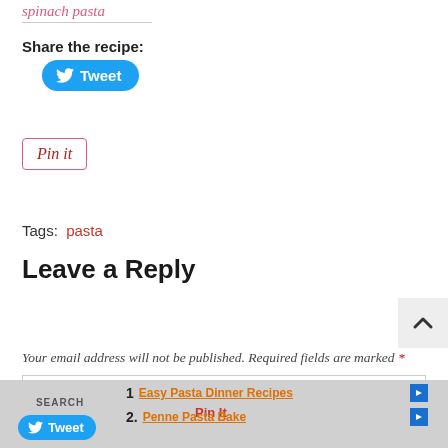spinach pasta
Share the recipe:
[Figure (other): Twitter Tweet button (blue rounded button with bird icon and 'Tweet' text)]
[Figure (other): Pinterest Pin it button (outlined red italic button with 'Pin it' text)]
Tags: pasta
Leave a Reply
Your email address will not be published. Required fields are marked *
[Figure (other): Comment text area input box]
[Figure (other): Scroll to top button with upward chevron arrow on grey background]
1. Easy Pasta Dinner Recipes | 2. Penne Pasta Bake | Pin It | Tweet | SEARCH